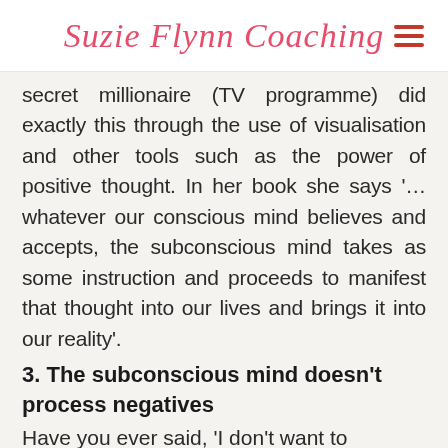Suzie Flynn Coaching
secret millionaire (TV programme) did exactly this through the use of visualisation and other tools such as the power of positive thought. In her book she says '…whatever our conscious mind believes and accepts, the subconscious mind takes as some instruction and proceeds to manifest that thought into our lives and brings it into our reality'.
3. The subconscious mind doesn't process negatives
Have you ever said, 'I don't want to